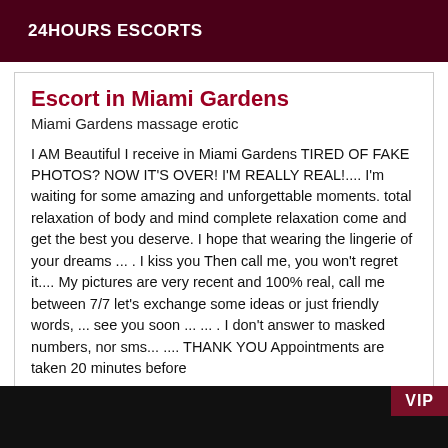24HOURS ESCORTS
Escort in Miami Gardens
Miami Gardens massage erotic
I AM Beautiful I receive in Miami Gardens TIRED OF FAKE PHOTOS? NOW IT'S OVER! I'M REALLY REAL!.... I'm waiting for some amazing and unforgettable moments. total relaxation of body and mind complete relaxation come and get the best you deserve. I hope that wearing the lingerie of your dreams ... . I kiss you Then call me, you won't regret it.... My pictures are very recent and 100% real, call me between 7/7 let's exchange some ideas or just friendly words, ... see you soon ... ... . I don't answer to masked numbers, nor sms... .... THANK YOU Appointments are taken 20 minutes before
[Figure (photo): Dark/black image strip at bottom with VIP badge in dark red]